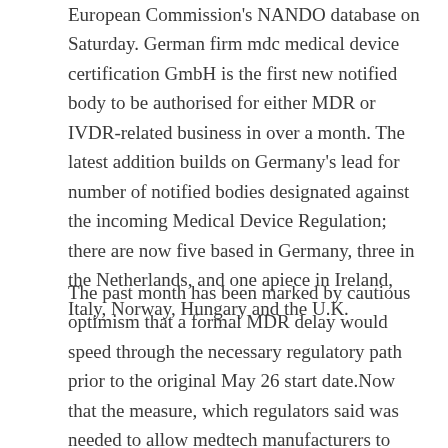European Commission's NANDO database on Saturday. German firm mdc medical device certification GmbH is the first new notified body to be authorised for either MDR or IVDR-related business in over a month. The latest addition builds on Germany's lead for number of notified bodies designated against the incoming Medical Device Regulation; there are now five based in Germany, three in the Netherlands, and one apiece in Ireland, Italy, Norway, Hungary and the U.K.
The past month has been marked by cautious optimism that a formal MDR delay would speed through the necessary regulatory path prior to the original May 26 start date.Now that the measure, which regulators said was needed to allow medtech manufacturers to focus on meeting market demands driven by the “unprecedented magnitude of the current challenges,” has been officially recorded in the EU journal, industry can breathe a collective sigh of relief.